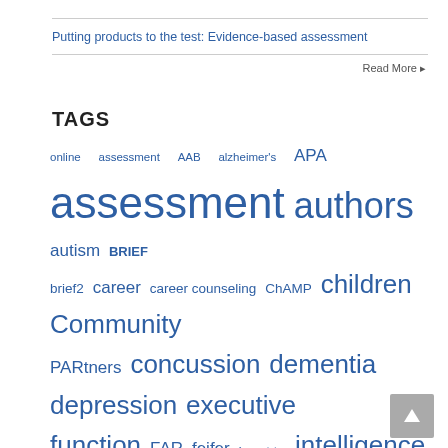Putting products to the test: Evidence-based assessment
Read More ▸
TAGS
[Figure (infographic): Tag cloud with various psychology and assessment related terms in different font sizes. Larger terms include: assessment, mental health, SDS, PARiConnect, authors. Smaller terms include: online, assessment, AAB, alzheimer's, APA, brief2, career, career counseling, ChAMP, children, Community PARtners, concussion, dementia, depression, executive function, FAR, feifer, free training, intelligence, John Holland, learning disabilities, memory, NASP, neuropsychology, online assessment, PAI, par, PAR, staff, personality, Psychology, ptsd, reading, research, retirement, school psychology, Self-Directed Search, suicide, teleassessment, telehealth, training, training portal, trauma, United Way, webinar]